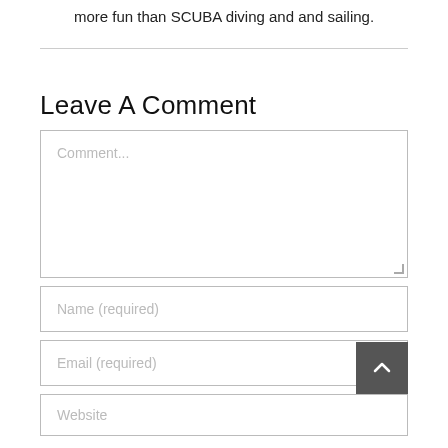more fun than SCUBA diving and and sailing.
Leave A Comment
Comment...
Name (required)
Email (required)
Website